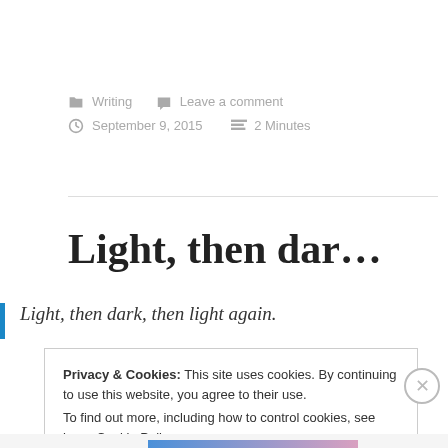Writing   Leave a comment
September 9, 2015   2 Minutes
Light, then dar…
Light, then dark, then light again.
Privacy & Cookies: This site uses cookies. By continuing to use this website, you agree to their use. To find out more, including how to control cookies, see here: Cookie Policy
Close and accept